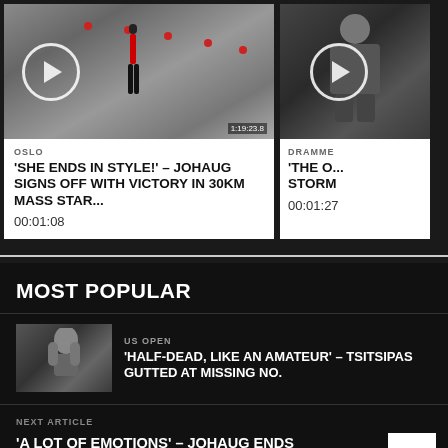[Figure (photo): Video thumbnail showing cross-country skier on a track with red markers, play button overlay, timestamp 1:19:23.8]
OSLO
'SHE ENDS IN STYLE!' - JOHAUG SIGNS OFF WITH VICTORY IN 30KM MASS STAR...
00:01:08
[Figure (photo): Video thumbnail showing a person, partially visible, with play button overlay. Location: Drammen]
DRAMME
'THE O... STORM
00:01:27
MOST POPULAR
[Figure (photo): Photo of Tsitsipas, a tennis player with curly hair, clapping or gesturing]
US OPEN
'HALF-DEAD, LIKE AN AMATEUR' - TSITSIPAS GUTTED AT MISSING NO.
NEXT ARTICLE
'A LOT OF EMOTIONS' - JOHAUG ENDS GLITTERING CAREER WITH VICTORY IN 30KM...